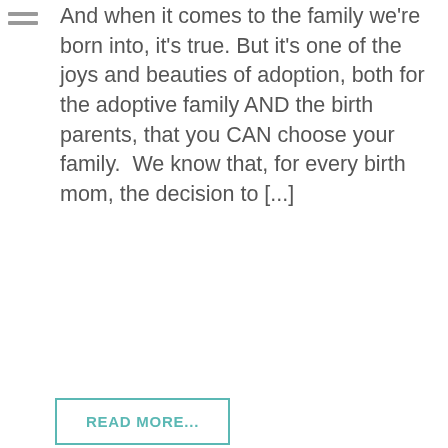And when it comes to the family we're born into, it's true. But it's one of the joys and beauties of adoption, both for the adoptive family AND the birth parents, that you CAN choose your family.  We know that, for every birth mom, the decision to [...]
READ MORE...
Posted on May 7, 2021 Edited May 18, 2021 by Jami Lyn Frisbie
FOOD! If you're pregnant, you either want it all, or you want it all far, far away from you. So this week, I want to share a few tips on how to eat healthy while you're pregnant (or even if